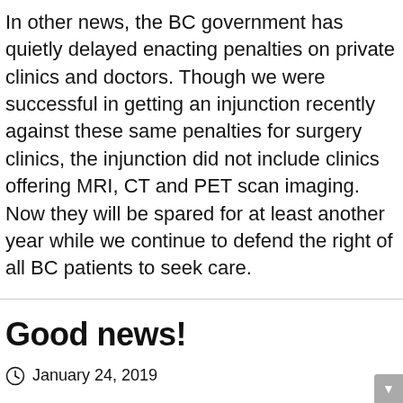In other news, the BC government has quietly delayed enacting penalties on private clinics and doctors. Though we were successful in getting an injunction recently against these same penalties for surgery clinics, the injunction did not include clinics offering MRI, CT and PET scan imaging. Now they will be spared for at least another year while we continue to defend the right of all BC patients to seek care.
Good news!
January 24, 2019
The Attorney General of British Columbia's application for leave to appeal the injunction for Surgery...